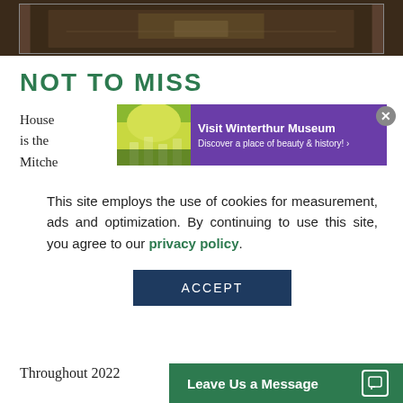[Figure (photo): Dark interior photo of a room with a book on a table, viewed from above, with a white-bordered frame overlay]
NOT TO MISS
House... is the Mitche... ritage.
[Figure (infographic): Advertisement overlay: Visit Winterthur Museum - Discover a place of beauty & history! with purple background and garden image]
This site employs the use of cookies for measurement, ads and optimization. By continuing to use this site, you agree to our privacy policy.
ACCEPT
Throughout 2022
Leave Us a Message